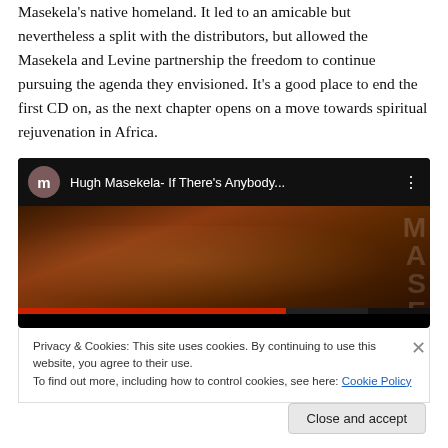Masekela's native homeland. It led to an amicable but nevertheless a split with the distributors, but allowed the Masekela and Levine partnership the freedom to continue pursuing the agenda they envisioned. It's a good place to end the first CD on, as the next chapter opens on a move towards spiritual rejuvenation in Africa.
[Figure (screenshot): YouTube video embed showing 'Hugh Masekela- If There's Anybody...' with a dark thumbnail showing close-up eyes, channel avatar with letter m, and three-dot menu icon]
Privacy & Cookies: This site uses cookies. By continuing to use this website, you agree to their use.
To find out more, including how to control cookies, see here: Cookie Policy